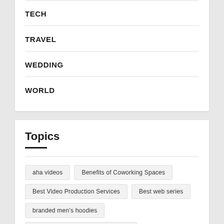TECH
TRAVEL
WEDDING
WORLD
Topics
aha videos
Benefits of Coworking Spaces
Best Video Production Services
Best web series
branded men's hoodies
coinbase customer service number
divorce in Singapore
divorce procedure in Singapore
divorce procedures in Singapore
Dock Box Buying Guide